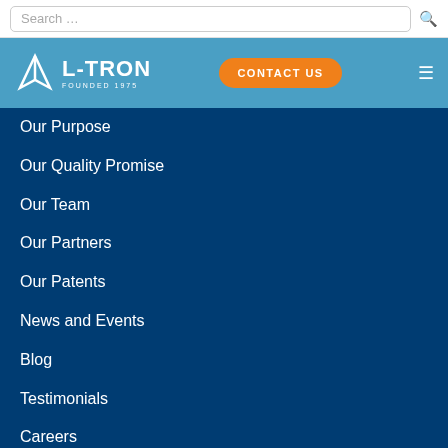Search ...
[Figure (logo): L-TRON FOUNDED 1975 logo with mountain/triangle icon on blue header bar with CONTACT US button and hamburger menu]
Our Purpose
Our Quality Promise
Our Team
Our Partners
Our Patents
News and Events
Blog
Testimonials
Careers
SUPPORT
Downloads & Drivers
Barcode Generator